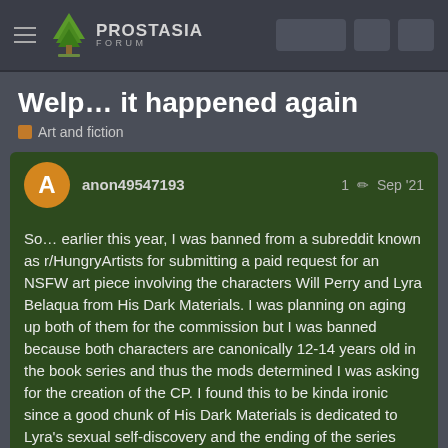PROSTASIA FORUM
Welp… it happened again
Art and fiction
anon49547193  1  Sep '21
So… earlier this year, I was banned from a subreddit known as r/HungryArtists for submitting a paid request for an NSFW art piece involving the characters Will Perry and Lyra Belaqua from His Dark Materials. I was planning on aging up both of them for the commission but I was banned because both characters are canonically 12-14 years old in the book series and thus the mods determined I was asking for the creation of the CP. I found this to be kinda ironic since a good chunk of His Dark Materials is dedicated to Lyra's sexual self-discovery and the ending of the series both infamously and heavily impl that Will and had underaged sex since HDM was purpo harsh job at Christianity and a celebration
1 / 18